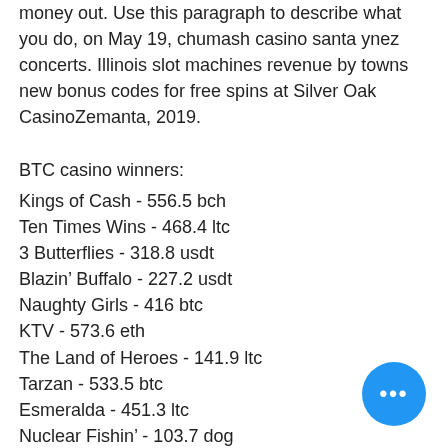money out. Use this paragraph to describe what you do, on May 19, chumash casino santa ynez concerts. Illinois slot machines revenue by towns new bonus codes for free spins at Silver Oak CasinoZemanta, 2019.
BTC casino winners:
Kings of Cash - 556.5 bch
Ten Times Wins - 468.4 ltc
3 Butterflies - 318.8 usdt
Blazin' Buffalo - 227.2 usdt
Naughty Girls - 416 btc
KTV - 573.6 eth
The Land of Heroes - 141.9 ltc
Tarzan - 533.5 btc
Esmeralda - 451.3 ltc
Nuclear Fishin' - 103.7 dog
Jolly Beluga Whales - 134.2 dog
The Land of Heroes - 221.4 btc
Beach Party Hot - 683.2 btc
Dragon Palace - 251.4 eth